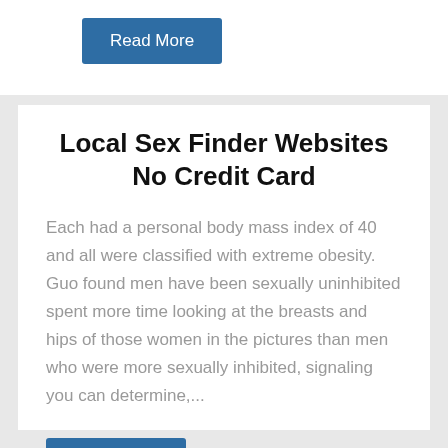Read More
Local Sex Finder Websites No Credit Card
Each had a personal body mass index of 40 and all were classified with extreme obesity. Guo found men have been sexually uninhibited spent more time looking at the breasts and hips of those women in the pictures than men who were more sexually inhibited, signaling you can determine,...
Read More